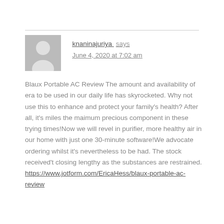knaninajuriya says
June 4, 2020 at 7:02 am
Blaux Portable AC Review The amount and availability of era to be used in our daily life has skyrocketed. Why not use this to enhance and protect your family's health? After all, it's miles the maimum precious component in these trying times!Now we will revel in purifier, more healthy air in our home with just one 30-minute software!We advocate ordering whilst it's nevertheless to be had. The stock received't closing lengthy as the substances are restrained.
https://www.jotform.com/EricaHess/blaux-portable-ac-review